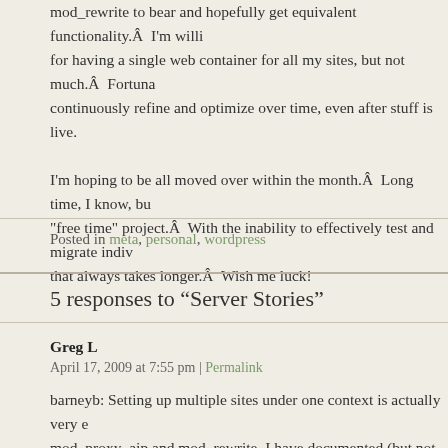mod_rewrite to bear and hopefully get equivalent functionality.Â  I'm willi for having a single web container for all my sites, but not much.Â  Fortuna continuously refine and optimize over time, even after stuff is live.
I'm hoping to be all moved over within the month.Â  Long time, I know, bu "free time" project.Â  With the inability to effectively test and migrate indiv that always takes longer.Â  Wish me luck!
Posted in meta, personal, wordpress
5 responses to “Server Stories”
Greg L
April 17, 2009 at 7:55 pm | Permalink
barneyb: Setting up multiple sites under one context is actually very e mod_proxy_ajp and mod_rewrite. I have documented (but not posted blogger) step-by-step instructions for setting up Apache 2.2.x/Tomat 6 supports running multiple sites under a single instance of Railo. And